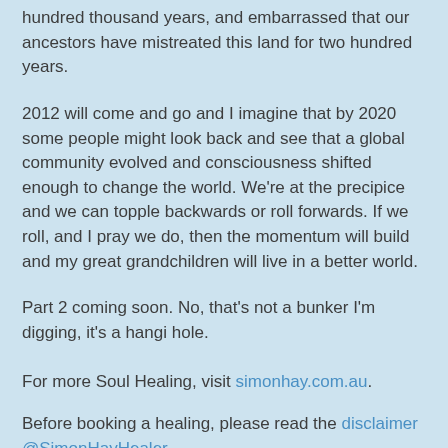hundred thousand years, and embarrassed that our ancestors have mistreated this land for two hundred years.
2012 will come and go and I imagine that by 2020 some people might look back and see that a global community evolved and consciousness shifted enough to change the world. We’re at the precipice and we can topple backwards or roll forwards. If we roll, and I pray we do, then the momentum will build and my great grandchildren will live in a better world.
Part 2 coming soon. No, that’s not a bunker I’m digging, it’s a hangi hole.
For more Soul Healing, visit simonhay.com.au.
Before booking a healing, please read the disclaimer @SimonHayHealer Simon on FB Simon on Google+
Simon Hay at 21:38    4 comments: